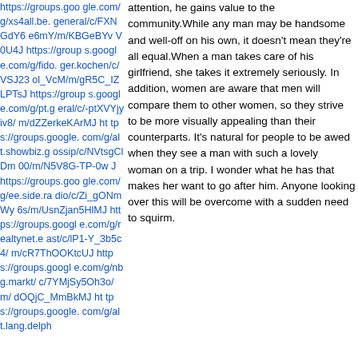https://groups.google.com/g/xs4all.be.general/c/FXNGdY6e6mY/m/KBGeBYvV0U4J https://groups.google.com/g/fido.ger.kochen/c/VSJ23ol_VcM/m/gR5C_IZLPTsJ https://groups.google.com/g/pt.general/c/-ptXVYjyiv8/m/dZZerkeKArMJ https://groups.google.com/g/alt.showbiz.gossip/c/NVtsgClDm00/m/N5V8G-TP-0wJ https://groups.google.com/g/ee.side.radio/c/Zi_gONmWy6s/m/UsnZjan5HlMJ https://groups.google.com/g/realtynet.east/c/lP1-Y_3b5c4/m/cR7ThOOKtcUJ https://groups.google.com/g/nbg.markt/c/7YMjSy5Oh3o/m/dOQjC_MmBkMJ https://groups.google.com/g/alt.lang.delph
attention, he gains value to the community.While any man may be handsome and well-off on his own, it doesn't mean they're all equal.When a man takes care of his girlfriend, she takes it extremely seriously. In addition, women are aware that men will compare them to other women, so they strive to be more visually appealing than their counterparts. It's natural for people to be awed when they see a man with such a lovely woman on a trip. I wonder what he has that makes her want to go after him. Anyone looking over this will be overcome with a sudden need to squirm.